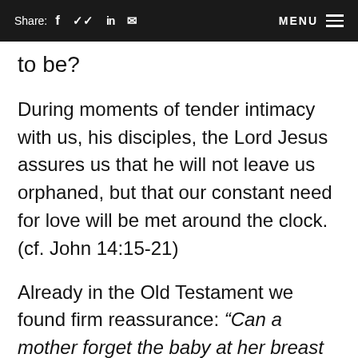Share: f  in  [mail]   MENU ≡
to be?
During moments of tender intimacy with us, his disciples, the Lord Jesus assures us that he will not leave us orphaned, but that our constant need for love will be met around the clock. (cf. John 14:15-21)
Already in the Old Testament we found firm reassurance: “Can a mother forget the baby at her breast and have no compassion on the child she has borne?